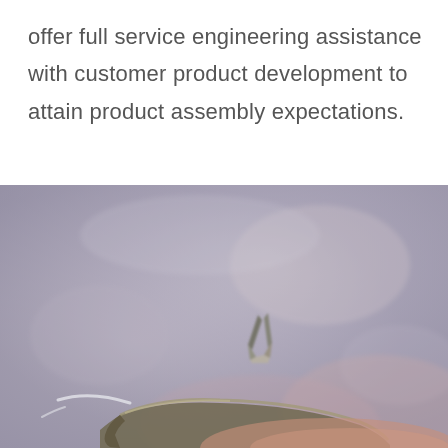offer full service engineering assistance with customer product development to attain product assembly expectations.
[Figure (photo): Close-up photograph of a metal stamped or bent component (appears to be a bracket or clip) being held or examined against a blurry metallic surface background. The part shows a curved/bent metal strip with what appears to be tool contact points visible.]